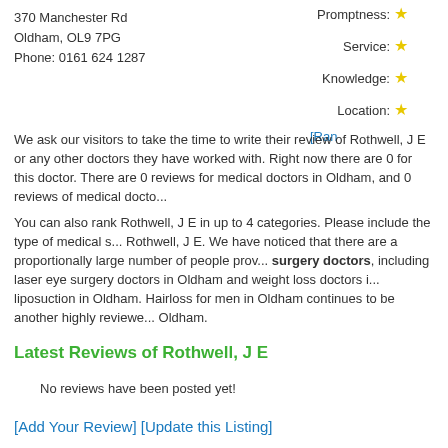370 Manchester Rd
Oldham, OL9 7PG
Phone: 0161 624 1287
Promptness:
Service:
Knowledge:
Location:
We ask our visitors to take the time to write their review of Rothwell, J E or any other doctors they have worked with. Right now there are 0 for this doctor. There are 0 reviews for medical doctors in Oldham, and 0 reviews of medical docto...
You can also rank Rothwell, J E in up to 4 categories. Please include the type of medical s... Rothwell, J E. We have noticed that there are a proportionally large number of people prov... surgery doctors, including laser eye surgery doctors in Oldham and weight loss doctors i... liposuction in Oldham. Hairloss for men in Oldham continues to be another highly reviewe... Oldham.
Latest Reviews of Rothwell, J E
No reviews have been posted yet!
[Add Your Review] [Update this Listing]
Rothwell, J E Map: